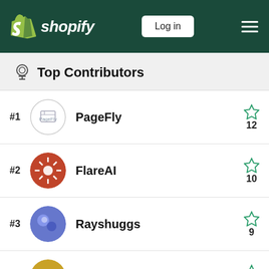shopify — Log in
Top Contributors
#1 PageFly — 12
#2 FlareAI — 10
#3 Rayshuggs — 9
#4 MS_WEB_DESIGNER — 7